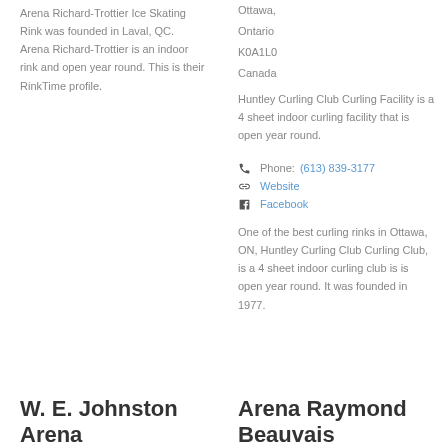Arena Richard-Trottier Ice Skating Rink was founded in Laval, QC. Arena Richard-Trottier is an indoor rink and open year round. This is their RinkTime profile.
Ottawa,
Ontario
K0A1L0
Canada
Huntley Curling Club Curling Facility is a 4 sheet indoor curling facility that is open year round.
Phone: (613) 839-3177
Website
Facebook
One of the best curling rinks in Ottawa, ON, Huntley Curling Club Curling Club, is a 4 sheet indoor curling club is is open year round. It was founded in 1977.
W. E. Johnston Arena
Arena Raymond Beauvais